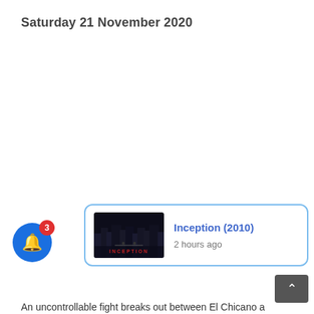Saturday 21 November 2020
[Figure (screenshot): Notification popup card showing Inception (2010) movie with thumbnail image, title in blue, and '2 hours ago' timestamp. Also shows a blue bell notification button with red badge showing '3', a close X button, and a scroll-to-top button.]
An uncontrollable fight breaks out between El Chicano a